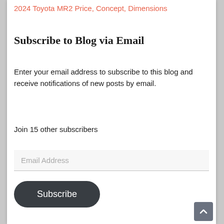2024 Toyota MR2 Price, Concept, Dimensions
Subscribe to Blog via Email
Enter your email address to subscribe to this blog and receive notifications of new posts by email.
Join 15 other subscribers
Email Address
Subscribe